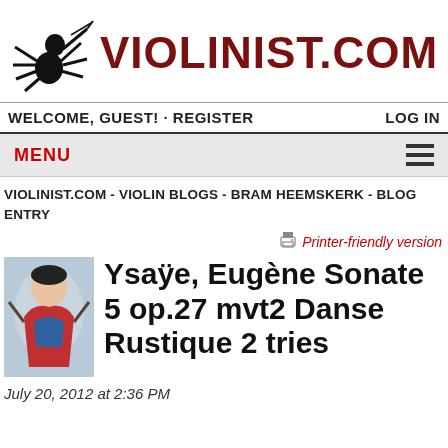[Figure (logo): Violinist.com logo with spider/violin player graphic and VIOLINIST.COM text in dark red]
WELCOME, GUEST! · REGISTER   LOG IN
MENU
VIOLINIST.COM - VIOLIN BLOGS - BRAM HEEMSKERK - BLOG ENTRY
Printer-friendly version
Ysaÿe, Eugène Sonate 5 op.27 mvt2 Danse Rustique 2 tries
July 20, 2012 at 2:36 PM